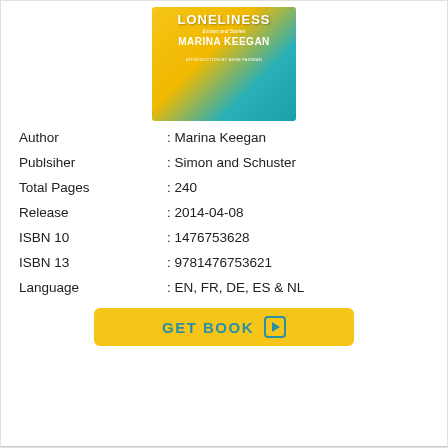[Figure (illustration): Book cover for 'The Opposite of Loneliness: Essays and Stories' by Marina Keegan, with yellow and teal background. Introduction by Anne Fadiman.]
Author : Marina Keegan
Publsiher : Simon and Schuster
Total Pages : 240
Release : 2014-04-08
ISBN 10 : 1476753628
ISBN 13 : 9781476753621
Language : EN, FR, DE, ES & NL
GET BOOK ▶